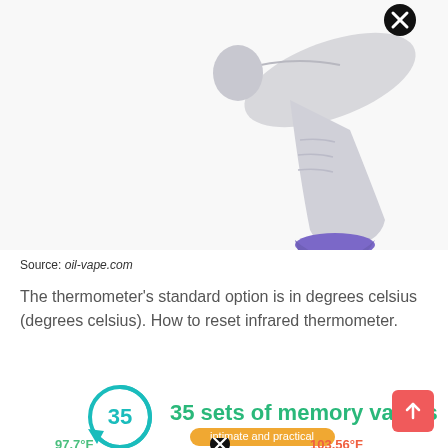[Figure (photo): Infrared thermometer gun, white and purple color, with a black X close button icon overlay at the top]
Source: oil-vape.com
The thermometer's standard option is in degrees celsius (degrees celsius). How to reset infrared thermometer.
[Figure (infographic): Infographic showing '35' in a teal circular arrow icon next to text '35 sets of memory values' with orange badge 'intimate and practical', and partial temperature display at bottom showing 37.7°F and 103.56°F with arc graphic]